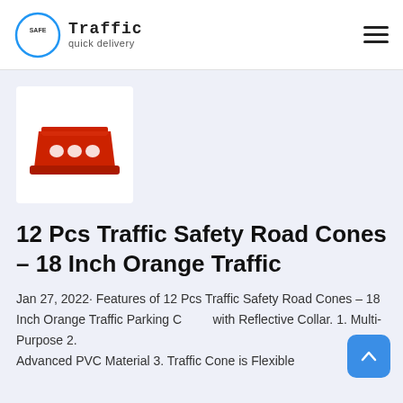[Figure (logo): Safe Traffic quick delivery logo — circle with SAFE text inside, and Traffic / quick delivery text to the right]
[Figure (photo): Red plastic road/water-filled traffic barrier, rectangular shape with three circular holes on the front face]
12 Pcs Traffic Safety Road Cones – 18 Inch Orange Traffic
Jan 27, 2022· Features of 12 Pcs Traffic Safety Road Cones – 18 Inch Orange Traffic Parking Cones with Reflective Collar. 1. Multi-Purpose 2. Advanced PVC Material 3. Traffic Cone is Flexible